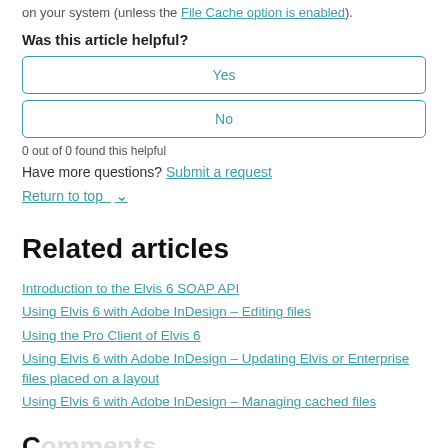on your system (unless the File Cache option is enabled).
Was this article helpful?
Yes
No
0 out of 0 found this helpful
Have more questions? Submit a request
Return to top
Related articles
Introduction to the Elvis 6 SOAP API
Using Elvis 6 with Adobe InDesign – Editing files
Using the Pro Client of Elvis 6
Using Elvis 6 with Adobe InDesign – Updating Elvis or Enterprise files placed on a layout
Using Elvis 6 with Adobe InDesign – Managing cached files
Comments